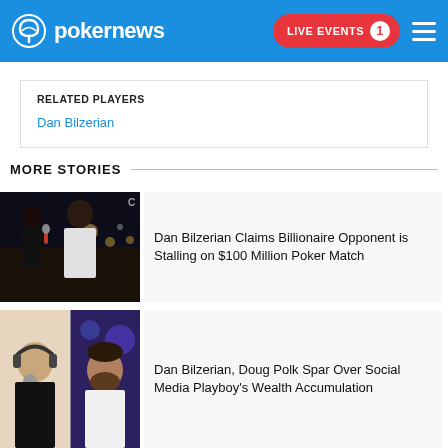pokernews — LIVE EVENTS 1
RELATED PLAYERS
Dan Bilzerian
MORE STORIES
[Figure (photo): Dan Bilzerian being interviewed by a woman outdoors at night with city lights in background]
Dan Bilzerian Claims Billionaire Opponent is Stalling on $100 Million Poker Match
[Figure (photo): Two men in split screen: left man wearing headphones with microphone, right man with beard]
Dan Bilzerian, Doug Polk Spar Over Social Media Playboy's Wealth Accumulation